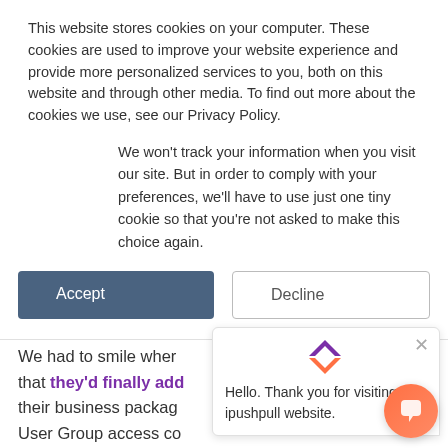This website stores cookies on your computer. These cookies are used to improve your website experience and provide more personalized services to you, both on this website and through other media. To find out more about the cookies we use, see our Privacy Policy.
We won't track your information when you visit our site. But in order to comply with your preferences, we'll have to use just one tiny cookie so that you're not asked to make this choice again.
Accept | Decline (buttons)
By David Jones
We had to smile when... that they'd finally add... their business packag... User Group access co... easy to manage the access each team within a business has to different pages – when a new te... member joins, just add them to the team group, when someone leaves, remove them. It's a feature
Hello. Thank you for visiting the ipushpull website.